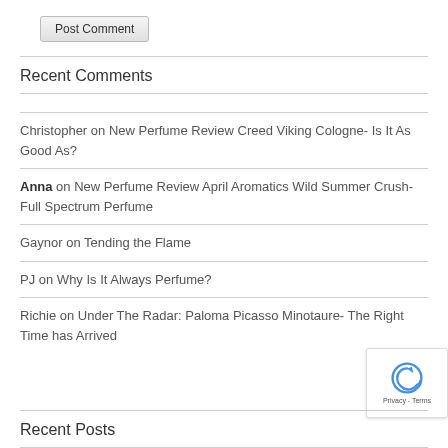Post Comment
Recent Comments
Christopher on New Perfume Review Creed Viking Cologne- Is It As Good As?
Anna on New Perfume Review April Aromatics Wild Summer Crush- Full Spectrum Perfume
Gaynor on Tending the Flame
PJ on Why Is It Always Perfume?
Richie on Under The Radar: Paloma Picasso Minotaure- The Right Time has Arrived
Recent Posts